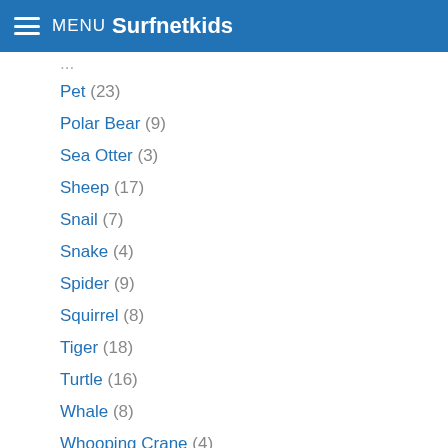MENU Surfnetkids
Pet (23)
Polar Bear (9)
Sea Otter (3)
Sheep (17)
Snail (7)
Snake (4)
Spider (9)
Squirrel (8)
Tiger (18)
Turtle (16)
Whale (8)
Whooping Crane (4)
► Around the World (130)
► Books and Authors (218)